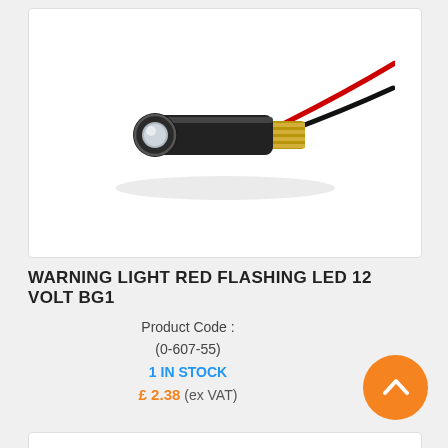[Figure (photo): A small black cylindrical warning light / LED indicator with a clear/white LED tip on the left end and gold-coloured threaded fitting on the right, with red and black wires extending to the upper right.]
WARNING LIGHT RED FLASHING LED 12 VOLT BG1
Product Code :
(0-607-55)
1 IN STOCK
£ 2.38 (ex VAT)